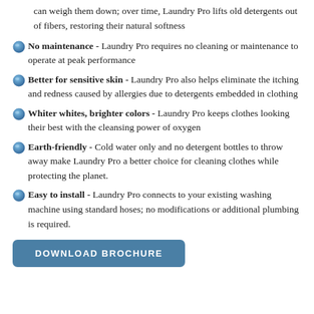can weigh them down; over time, Laundry Pro lifts old detergents out of fibers, restoring their natural softness
No maintenance - Laundry Pro requires no cleaning or maintenance to operate at peak performance
Better for sensitive skin - Laundry Pro also helps eliminate the itching and redness caused by allergies due to detergents embedded in clothing
Whiter whites, brighter colors - Laundry Pro keeps clothes looking their best with the cleansing power of oxygen
Earth-friendly - Cold water only and no detergent bottles to throw away make Laundry Pro a better choice for cleaning clothes while protecting the planet.
Easy to install - Laundry Pro connects to your existing washing machine using standard hoses; no modifications or additional plumbing is required.
DOWNLOAD BROCHURE